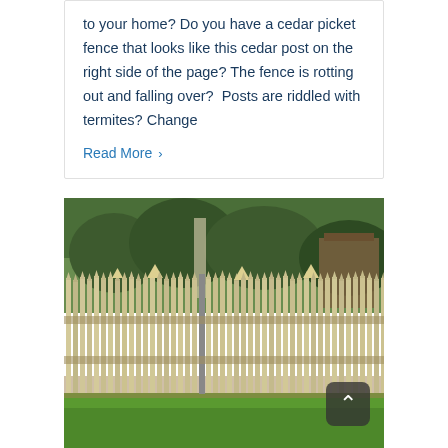to your home? Do you have a cedar picket fence that looks like this cedar post on the right side of the page? The fence is rotting out and falling over?  Posts are riddled with termites? Change
Read More >
[Figure (photo): Photograph of a wooden picket fence with pointed tops, light tan/natural wood color, extending across the frame. Green trees and brush visible in the background. Green grass in the foreground. A dark back-to-top button with a caret/chevron icon is visible in the lower right of the image.]